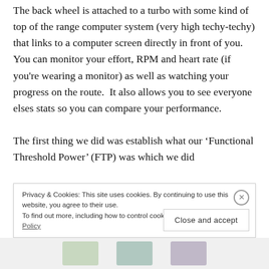The back wheel is attached to a turbo with some kind of top of the range computer system (very high techy-techy) that links to a computer screen directly in front of you. You can monitor your effort, RPM and heart rate (if you're wearing a monitor) as well as watching your progress on the route.  It also allows you to see everyone elses stats so you can compare your performance.

The first thing we did was establish what our 'Functional Threshold Power' (FTP) was which we did
Privacy & Cookies: This site uses cookies. By continuing to use this website, you agree to their use.
To find out more, including how to control cookies, see here: Cookie Policy
Close and accept